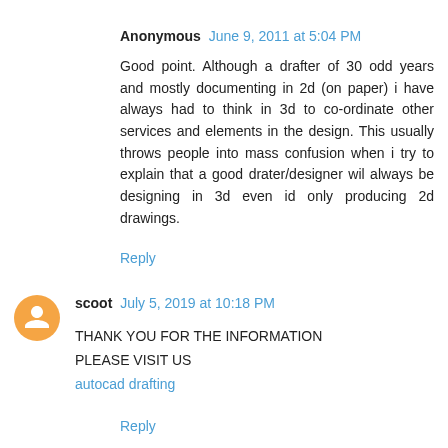Anonymous June 9, 2011 at 5:04 PM
Good point. Although a drafter of 30 odd years and mostly documenting in 2d (on paper) i have always had to think in 3d to co-ordinate other services and elements in the design. This usually throws people into mass confusion when i try to explain that a good drater/designer wil always be designing in 3d even id only producing 2d drawings.
Reply
scoot July 5, 2019 at 10:18 PM
THANK YOU FOR THE INFORMATION
PLEASE VISIT US
autocad drafting
Reply